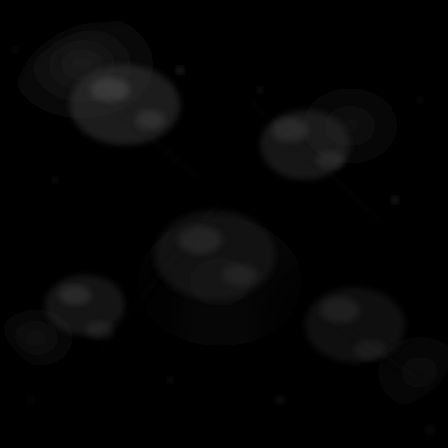[Figure (continuous-plot): Dark scientific plot or astronomical/microscopy image on black background. The image shows a complex pattern of lighter and darker regions against a predominantly black background, suggesting a scientific visualization such as a density map, spectral image, or astronomical photograph. Faint structural details and irregular lighter patches are visible across the image.]